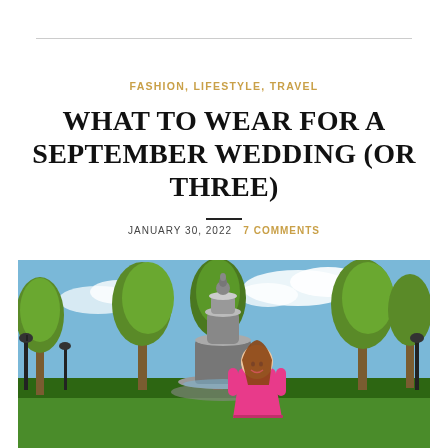FASHION, LIFESTYLE, TRAVEL
WHAT TO WEAR FOR A SEPTEMBER WEDDING (OR THREE)
JANUARY 30, 2022   7 COMMENTS
[Figure (photo): Woman in pink dress standing in front of a large decorative fountain in a park with green trees and blue sky in the background.]